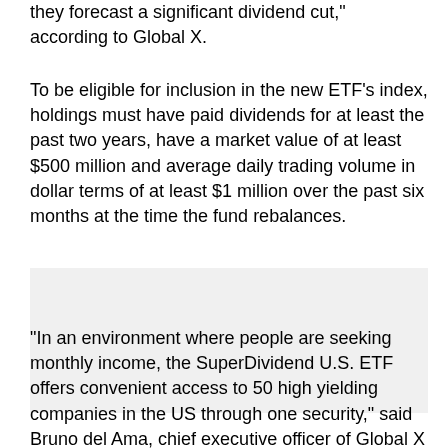they forecast a significant dividend cut," according to Global X.
To be eligible for inclusion in the new ETF's index, holdings must have paid dividends for at least the past two years, have a market value of at least $500 million and average daily trading volume in dollar terms of at least $1 million over the past six months at the time the fund rebalances.
[Figure (other): Image or advertisement placeholder area (gray box)]
"In an environment where people are seeking monthly income, the SuperDividend U.S. ETF offers convenient access to 50 high yielding companies in the US through one security," said Bruno del Ama, chief executive officer of Global X Funds, in a statement. "Based on the research we